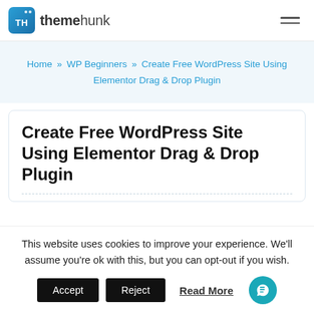themehunk
Home » WP Beginners » Create Free WordPress Site Using Elementor Drag & Drop Plugin
Create Free WordPress Site Using Elementor Drag & Drop Plugin
This website uses cookies to improve your experience. We'll assume you're ok with this, but you can opt-out if you wish.